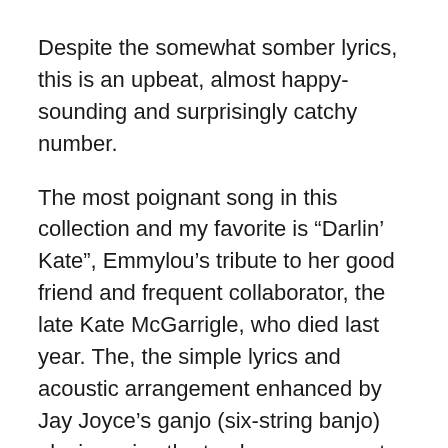Despite the somewhat somber lyrics, this is an upbeat, almost happy-sounding and surprisingly catchy number.
The most poignant song in this collection and my favorite is “Darlin’ Kate”, Emmylou’s tribute to her good friend and frequent collaborator, the late Kate McGarrigle, who died last year. The, the simple lyrics and acoustic arrangement enhanced by Jay Joyce’s ganjo (six-string banjo) playing, give the track a more country feel than most of the others songs on the album.
I seem to be a sucker for bonus tracks; for some reason they usually end up being some of my favorite tracks, and “To Ohio”, which appears on the deluxe version of Hard Bargain, is no exception. Breaking with the three-musicians-only formula of the rest of the album, Emmylou is joined by this track by the full-band The Luxe Anthem...